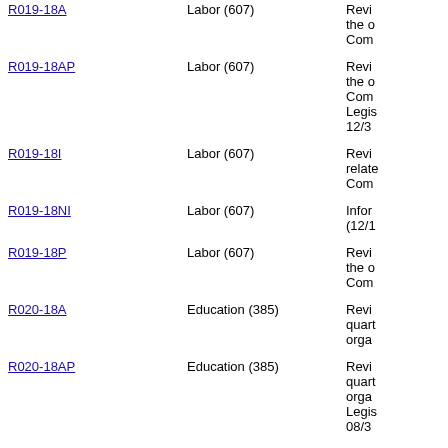| Code | Category | Description |
| --- | --- | --- |
| R019-18A | Labor (607) | Revi... the o... Com... |
| R019-18AP | Labor (607) | Revi... the o... Com... Legis... 12/3... |
| R019-18I | Labor (607) | Revi... relate... Com... |
| R019-18NI | Labor (607) | Infor... (12/1... |
| R019-18P | Labor (607) | Revi... the o... Com... |
| R020-18A | Education (385) | Revi... quart... orga... |
| R020-18AP | Education (385) | Revi... quart... orga... Legis... 08/3... |
| R020-18I | Education (385/394) | Revi... quart... orga... |
| R020-18NI | Education (385) | Infor... (08/7... |